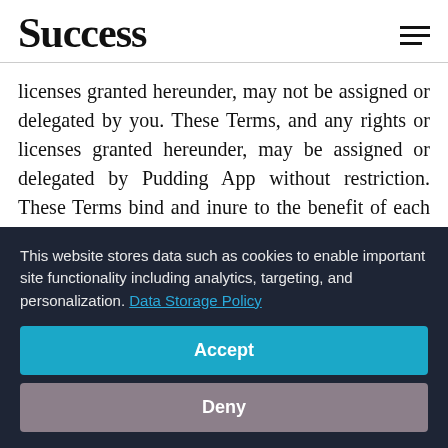Success
licenses granted hereunder, may not be assigned or delegated by you. These Terms, and any rights or licenses granted hereunder, may be assigned or delegated by Pudding App without restriction. These Terms bind and inure to the benefit of each party and the party's successors and permitted assigns. These Terms may not be modified by an oral statement by a
This website stores data such as cookies to enable important site functionality including analytics, targeting, and personalization. Data Storage Policy
Accept
Deny